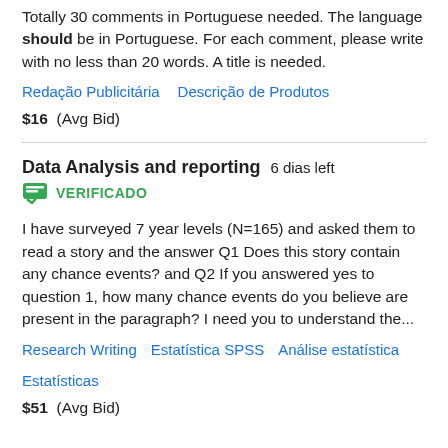Totally 30 comments in Portuguese needed. The language should be in Portuguese. For each comment, please write with no less than 20 words. A title is needed.
Redação Publicitária   Descrição de Produtos
$16  (Avg Bid)
Data Analysis and reporting  6 dias left
VERIFICADO
I have surveyed 7 year levels (N=165) and asked them to read a story and the answer Q1 Does this story contain any chance events? and Q2 If you answered yes to question 1, how many chance events do you believe are present in the paragraph? I need you to understand the...
Research Writing   Estatística SPSS   Análise estatística   Estatísticas
$51  (Avg Bid)